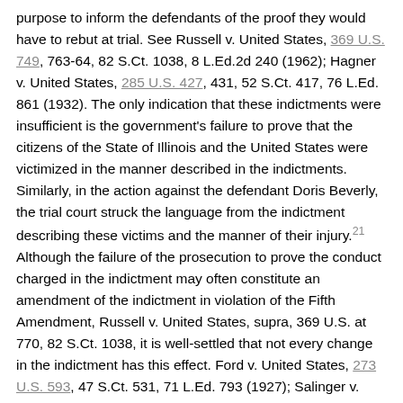purpose to inform the defendants of the proof they would have to rebut at trial. See Russell v. United States, 369 U.S. 749, 763-64, 82 S.Ct. 1038, 8 L.Ed.2d 240 (1962); Hagner v. United States, 285 U.S. 427, 431, 52 S.Ct. 417, 76 L.Ed. 861 (1932). The only indication that these indictments were insufficient is the government's failure to prove that the citizens of the State of Illinois and the United States were victimized in the manner described in the indictments. Similarly, in the action against the defendant Doris Beverly, the trial court struck the language from the indictment describing these victims and the manner of their injury.21 Although the failure of the prosecution to prove the conduct charged in the indictment may often constitute an amendment of the indictment in violation of the Fifth Amendment, Russell v. United States, supra, 369 U.S. at 770, 82 S.Ct. 1038, it is well-settled that not every change in the indictment has this effect. Ford v. United States, 273 U.S. 593, 47 S.Ct. 531, 71 L.Ed. 793 (1927); Salinger v. United States, 272 U.S. 542, 47 S.Ct. 173, 71 L.Ed. 398 (1926); United States v. Craig, supra; United States v. Spector, 326 F.2d 345 (7th Cir. 1963). The scheme alleged in the indictments remained exactly the same after the alleged amendments, and the striking did not "burden the charges contained in the indictment." See United States v. Craig, supra, at 491; United States v. Spector, supra, at 347. The